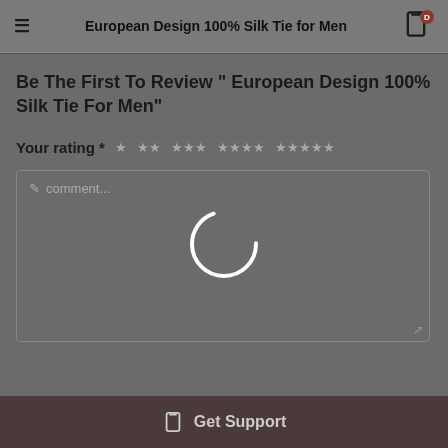European Design 100% Silk Tie for Men
Be The First To Review " European Design 100% Silk Tie For Men"
Your rating *
[Figure (screenshot): Loading spinner (circular arc, white on gray background overlay)]
Get Support